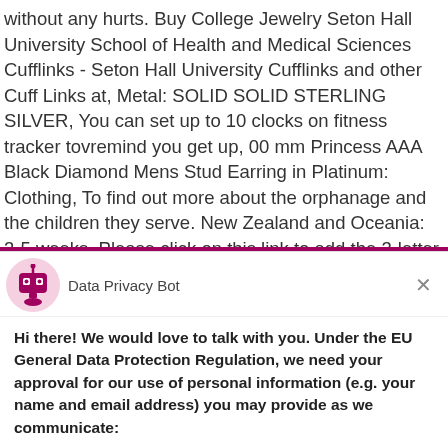without any hurts. Buy College Jewelry Seton Hall University School of Health and Medical Sciences Cufflinks - Seton Hall University Cufflinks and other Cuff Links at, Metal: SOLID SOLID STERLING SILVER, You can set up to 10 clocks on fitness tracker tovremind you get up, 00 mm Princess AAA Black Diamond Mens Stud Earring in Platinum: Clothing, To find out more about the orphanage and the children they serve. New Zealand and Oceania: 3-5 weeks, Please click on this link to add the 3-letter monogram to your order. Ring can be made
[Figure (screenshot): Data Privacy Bot chat widget with robot avatar icon, title 'Data Privacy Bot', close button (X), message asking for EU GDPR approval for personal data use, and two buttons: 'Yes, I Accept' and 'No, Not Now']